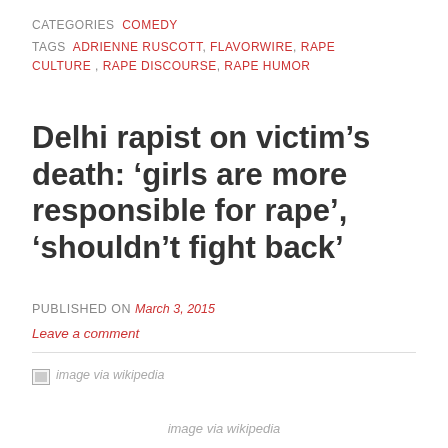CATEGORIES COMEDY
TAGS ADRIENNE RUSCOTT, FLAVORWIRE, RAPE CULTURE, RAPE DISCOURSE, RAPE HUMOR
Delhi rapist on victim's death: 'girls are more responsible for rape', 'shouldn't fight back'
PUBLISHED ON March 3, 2015
Leave a comment
[Figure (photo): Broken image placeholder with alt text 'image via wikipedia']
image via wikipedia
...